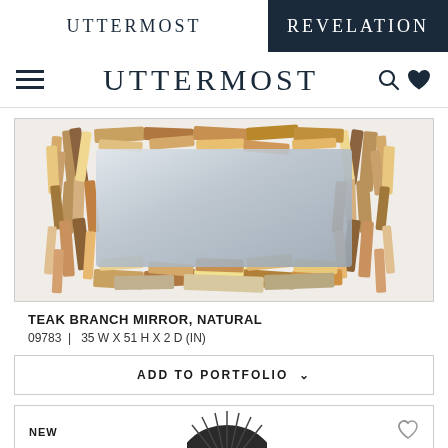UTTERMOST | REVELATION
UTTERMOST
[Figure (photo): Teak Branch Mirror with natural wood branch frame surrounding a rectangular mirror, stacked teak pieces in brown, tan, and natural tones]
TEAK BRANCH MIRROR, NATURAL
09783  |  35 W X 51 H X 2 D (IN)
ADD TO PORTFOLIO ∨
NEW